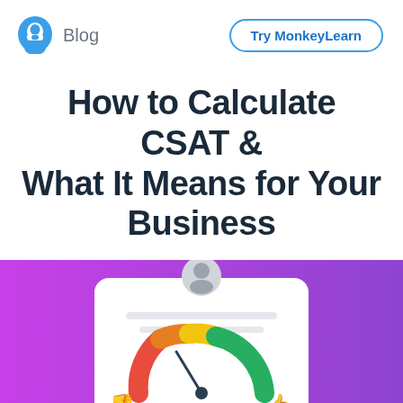Blog  |  Try MonkeyLearn
How to Calculate CSAT & What It Means for Your Business
[Figure (illustration): Purple-to-magenta gradient background with a white card showing a CSAT speedometer gauge with red, orange, yellow, and green segments, a user avatar icon at the top, text lines, a red thumbs-down icon and a green thumbs-up icon flanking the gauge, partially cropped at bottom of page.]